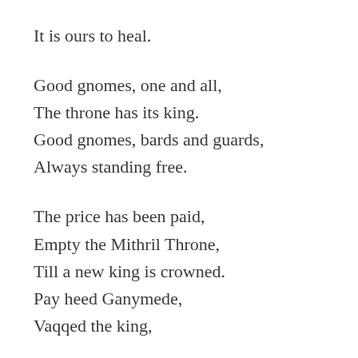It is ours to heal.
Good gnomes, one and all,
The throne has its king.
Good gnomes, bards and guards,
Always standing free.
The price has been paid,
Empty the Mithril Throne,
Till a new king is crowned.
Pay heed Ganymede,
Vaqqed the king,